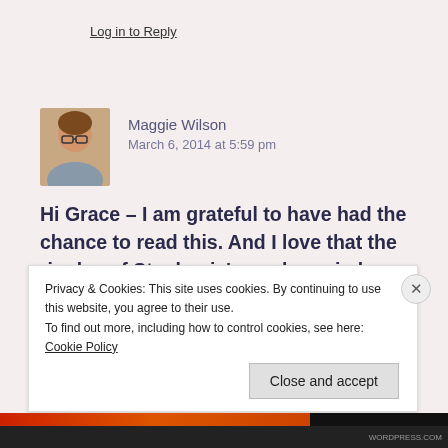Log in to Reply
Maggie Wilson
March 6, 2014 at 5:59 pm
Hi Grace – I am grateful to have had the chance to read this. And I love that the ripples of Stephanie's work carried you forward to this. Thank you for sharing.
★ Liked by 1 person
Privacy & Cookies: This site uses cookies. By continuing to use this website, you agree to their use.
To find out more, including how to control cookies, see here: Cookie Policy
Close and accept